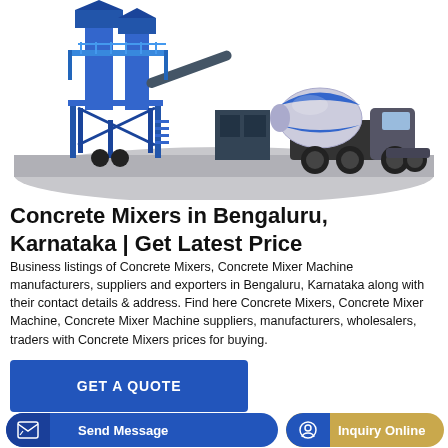[Figure (illustration): 3D illustration of a concrete batching plant with blue steel frame, silos, conveyor belts, a small control cabin, and a blue/white concrete mixer truck on a gray platform.]
Concrete Mixers in Bengaluru, Karnataka | Get Latest Price
Business listings of Concrete Mixers, Concrete Mixer Machine manufacturers, suppliers and exporters in Bengaluru, Karnataka along with their contact details & address. Find here Concrete Mixers, Concrete Mixer Machine, Concrete Mixer Machine suppliers, manufacturers, wholesalers, traders with Concrete Mixers prices for buying.
GET A QUOTE
Send Message
Inquiry Online